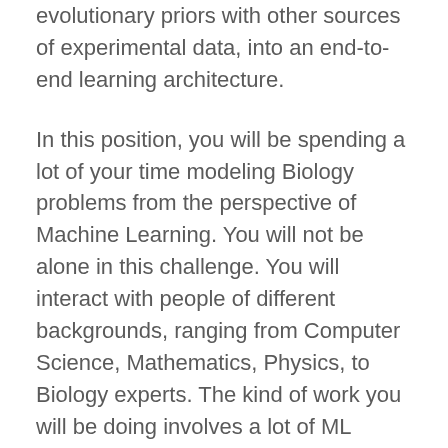evolutionary priors with other sources of experimental data, into an end-to-end learning architecture.
In this position, you will be spending a lot of your time modeling Biology problems from the perspective of Machine Learning. You will not be alone in this challenge. You will interact with people of different backgrounds, ranging from Computer Science, Mathematics, Physics, to Biology experts. The kind of work you will be doing involves a lot of ML exploration and experimentation. We will be trying to keep the cycle idea-implementation-experiment as agile